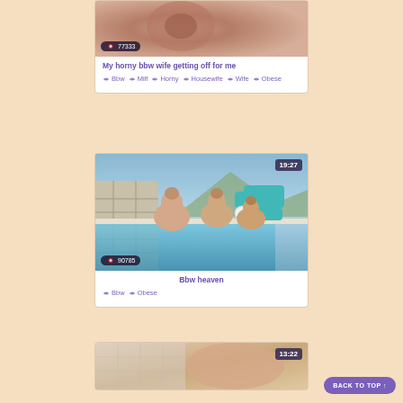[Figure (screenshot): Video thumbnail for 'My horny bbw wife getting off for me' with view count 77333]
My horny bbw wife getting off for me
Bbw  Milf  Horny  Housewife  Wife  Obese
[Figure (screenshot): Video thumbnail for 'Bbw heaven', duration 19:27, view count 90785]
Bbw heaven
Bbw  Obese
[Figure (screenshot): Video thumbnail, duration 13:22]
BACK TO TOP ↑